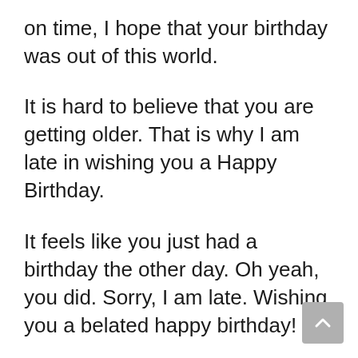on time, I hope that your birthday was out of this world.
It is hard to believe that you are getting older. That is why I am late in wishing you a Happy Birthday.
It feels like you just had a birthday the other day. Oh yeah, you did. Sorry, I am late. Wishing you a belated happy birthday!
Although my birthday wish is too late, my best wishes for your health and happiness are good 365 days a year. Hope you had a happy birthday.